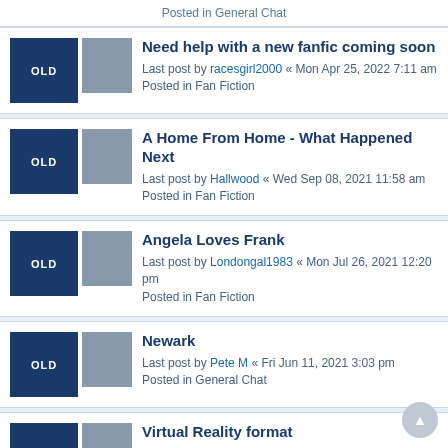Posted in General Chat
Need help with a new fanfic coming soon
Last post by racesgirl2000 « Mon Apr 25, 2022 7:11 am
Posted in Fan Fiction
A Home From Home - What Happened Next
Last post by Hallwood « Wed Sep 08, 2021 11:58 am
Posted in Fan Fiction
Angela Loves Frank
Last post by Londongal1983 « Mon Jul 26, 2021 12:20 pm
Posted in Fan Fiction
Newark
Last post by Pete M « Fri Jun 11, 2021 3:03 pm
Posted in General Chat
Virtual Reality format
Last post by 936trt « Thu Apr 15, 2021 2:52